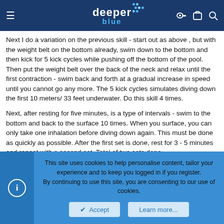deeper blue (logo with navigation icons)
Next I do a variation on the previous skill - start out as above , but with the weight belt on the bottom already, swim down to the bottom and then kick for 5 kick cycles while pushing off the bottom of the pool. Then put the weight belt over the back of the neck and relax until the first contraction - swim back and forth at a gradual increase in speed until you cannot go any more. The 5 kick cycles simulates diving down the first 10 meters/ 33 feet underwater. Do this skill 4 times.
Next, after resting for five minutes, is a type of intervals - swim to the bottom and back to the surface 10 times. When you surface, you can only take one inhalation before diving down again. This must be done as quickly as possible. After the first set is done, rest for 3 - 5 minutes and repeat with a second set. Total of two sets done.
Lastly. Do three negative pressure dives - the first one is done with a
This site uses cookies to help personalise content, tailor your experience and to keep you logged in if you register.
By continuing to use this site, you are consenting to our use of cookies.